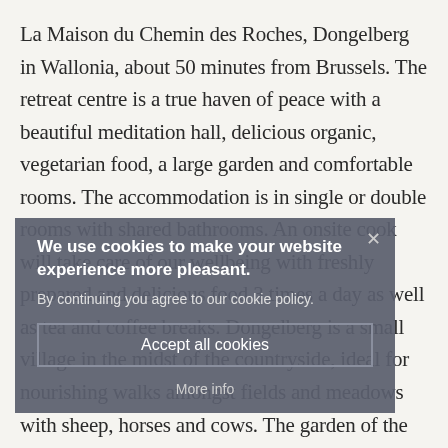La Maison du Chemin des Roches, Dongelberg in Wallonia, about 50 minutes from Brussels. The retreat centre is a true haven of peace with a beautiful meditation hall, delicious organic, vegetarian food, a large garden and comfortable rooms. The accommodation is in single or double rooms with shared bathrooms. An onsite cook will take care of our wellbeing with freshly prepared and delicious food 3 times a day as well as tea and coffee breaks. Dongelberg is a small village in the midst of the countryside, ideal for nourishing walks amongst fields and meadows with sheep, horses and cows. The garden of the retreat center has beautiful trees where you can rest or meditate and listen to the
We use cookies to make your website experience more pleasant.
By continuing you agree to our cookie policy.
Accept all cookies
More info